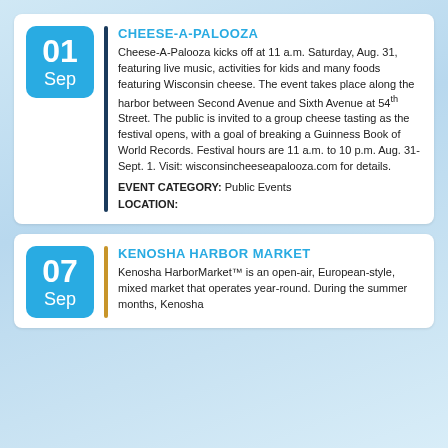CHEESE-A-PALOOZA
Cheese-A-Palooza kicks off at 11 a.m. Saturday, Aug. 31, featuring live music, activities for kids and many foods featuring Wisconsin cheese. The event takes place along the harbor between Second Avenue and Sixth Avenue at 54th Street. The public is invited to a group cheese tasting as the festival opens, with a goal of breaking a Guinness Book of World Records. Festival hours are 11 a.m. to 10 p.m. Aug. 31-Sept. 1. Visit: wisconsincheeseapalooza.com for details.
EVENT CATEGORY: Public Events
LOCATION:
KENOSHA HARBOR MARKET
Kenosha HarborMarket™ is an open-air, European-style, mixed market that operates year-round. During the summer months, Kenosha